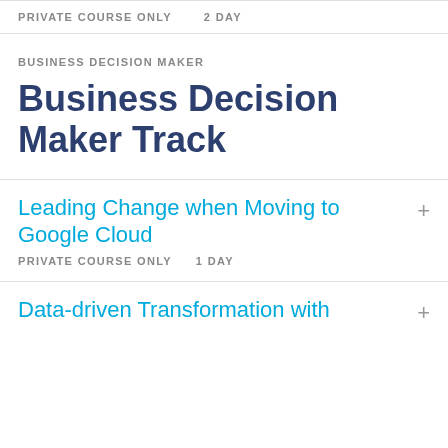PRIVATE COURSE ONLY    2 DAY
BUSINESS DECISION MAKER
Business Decision Maker Track
Leading Change when Moving to Google Cloud
PRIVATE COURSE ONLY    1 DAY
Data-driven Transformation with